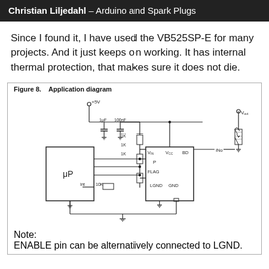Christian Liljedahl – Arduino and Spark Plugs
Since I found it, I have used the VB525SP-E for many projects. And it just keeps on working. It has internal thermal protection, that makes sure it does not die.
Figure 8.    Application diagram
[Figure (circuit-diagram): Application diagram for VB525SP-E showing microprocessor (μP) connected via 1K resistors to VIN, P, and FLAG pins of the IC. Capacitors 1μF and 100nF on power rail. 10K resistor with INT pin. VCC, BD, LGND, GND, and INo pins shown. Output connected to Vout via coil/transformer symbol. Note: ENABLE pin can be alternatively connected to LGND.]
Note:
ENABLE pin can be alternatively connected to LGND.